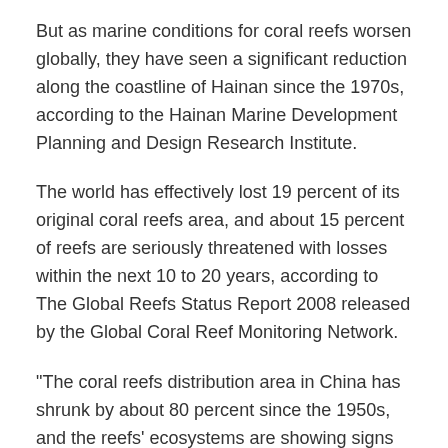But as marine conditions for coral reefs worsen globally, they have seen a significant reduction along the coastline of Hainan since the 1970s, according to the Hainan Marine Development Planning and Design Research Institute.
The world has effectively lost 19 percent of its original coral reefs area, and about 15 percent of reefs are seriously threatened with losses within the next 10 to 20 years, according to The Global Reefs Status Report 2008 released by the Global Coral Reef Monitoring Network.
"The coral reefs distribution area in China has shrunk by about 80 percent since the 1950s, and the reefs' ecosystems are showing signs of severe degradation," Qian said.
The Dazhou Island reef restoration project was launched by the State Oceanic Administration in 2013. Qian, who was a senior marine biology student then, and his team led by Li Hongwu, won the bid for restoration work.